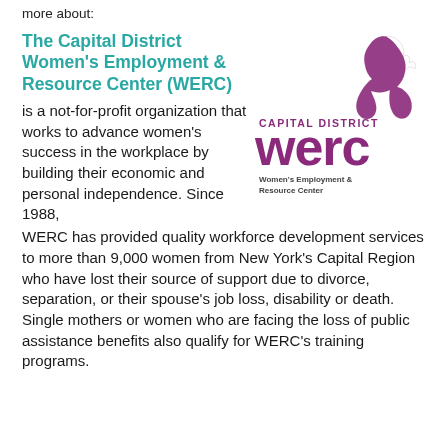more about:
The Capital District Women's Employment & Resource Center (WERC)
is a not-for-profit organization that works to advance women's success in the workplace by building their economic and personal independence. Since 1988, WERC has provided quality workforce development services to more than 9,000 women from New York's Capital Region who have lost their source of support due to divorce, separation, or their spouse's job loss, disability or death. Single mothers or women who are facing the loss of public assistance benefits also qualify for WERC's training programs.
[Figure (logo): Capital District WERC – Women's Employment & Resource Center logo with purple text and stylized woman figure]